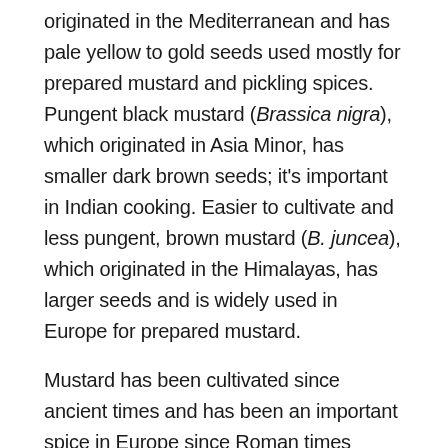originated in the Mediterranean and has pale yellow to gold seeds used mostly for prepared mustard and pickling spices. Pungent black mustard (Brassica nigra), which originated in Asia Minor, has smaller dark brown seeds; it's important in Indian cooking. Easier to cultivate and less pungent, brown mustard (B. juncea), which originated in the Himalayas, has larger seeds and is widely used in Europe for prepared mustard.
Mustard has been cultivated since ancient times and has been an important spice in Europe since Roman times because, unlike